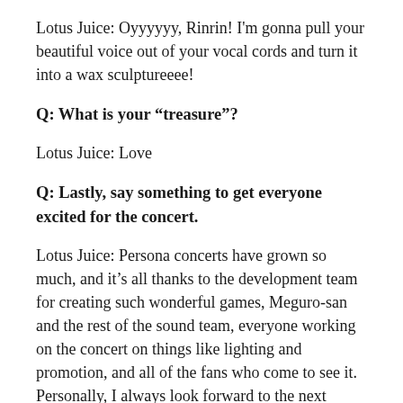Lotus Juice: Oyyyyyy, Rinrin! I'm gonna pull your beautiful voice out of your vocal cords and turn it into a wax sculptureeee!
Q: What is your “treasure”?
Lotus Juice: Love
Q: Lastly, say something to get everyone excited for the concert.
Lotus Juice: Persona concerts have grown so much, and it’s all thanks to the development team for creating such wonderful games, Meguro-san and the rest of the sound team, everyone working on the concert on things like lighting and promotion, and all of the fans who come to see it. Personally, I always look forward to the next concert as though it’ll be the last, so I’ll be challenging